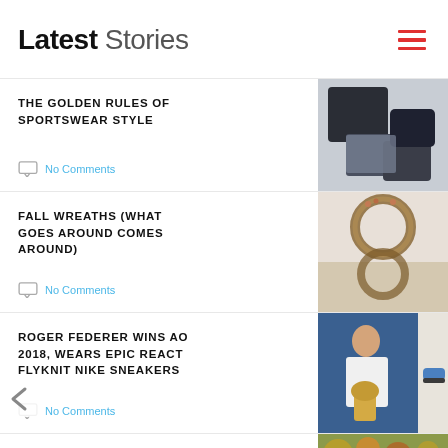Latest Stories
THE GOLDEN RULES OF SPORTSWEAR STYLE — No Comments
FALL WREATHS (WHAT GOES AROUND COMES AROUND) — No Comments
ROGER FEDERER WINS AO 2018, WEARS EPIC REACT FLYKNIT NIKE SNEAKERS — No Comments
FALL BACK IN STYLE!